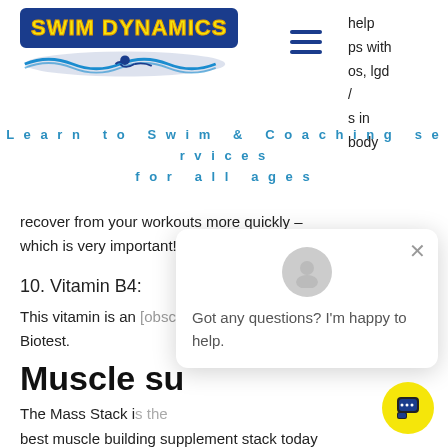[Figure (logo): Swim Dynamics logo with yellow text on blue background and wave graphic]
help ps with os, lgd / s in body
Learn to Swim & Coaching services for all ages
recover from your workouts more quickly – which is very important!
10. Vitamin B4:
This vitamin is an important part of Biotest.
Muscle su
The Mass Stack is the best muscle building supplement stack today thanks to its potent combination and formulaof essential amino acids. Mass Stack is the best amino acid stack on the market with an immediate effect of hypertrophy plus